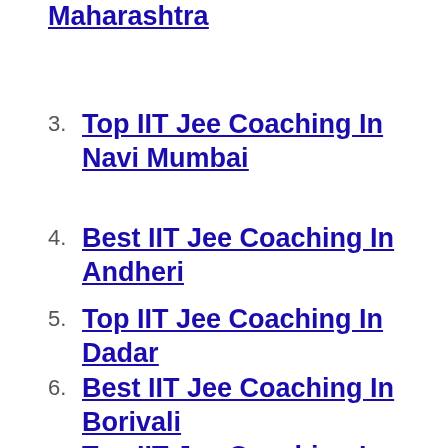Maharashtra
3. Top IIT Jee Coaching In Navi Mumbai
4. Best IIT Jee Coaching In Andheri
5. Top IIT Jee Coaching In Dadar
6. Best IIT Jee Coaching In Borivali
7. Top IIT Jee Coaching In Thane